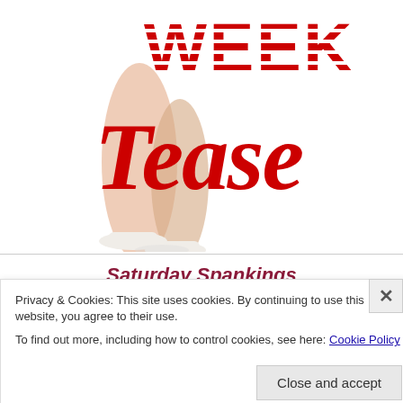[Figure (illustration): Partial image showing legs in white high heels with large decorative red text reading 'WEEK Tease' — appears to be a book cover or promotional graphic.]
Saturday Spankings
Privacy & Cookies: This site uses cookies. By continuing to use this website, you agree to their use.
To find out more, including how to control cookies, see here: Cookie Policy